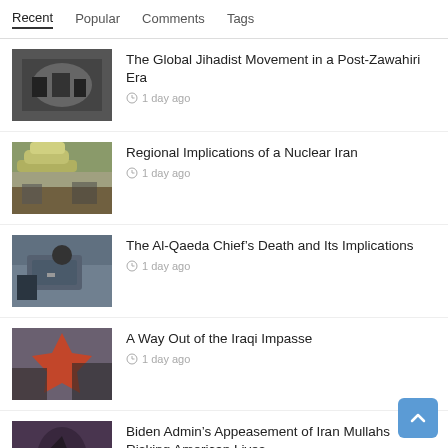Recent | Popular | Comments | Tags
The Global Jihadist Movement in a Post-Zawahiri Era — 1 day ago
Regional Implications of a Nuclear Iran — 1 day ago
The Al-Qaeda Chief’s Death and Its Implications — 1 day ago
A Way Out of the Iraqi Impasse — 1 day ago
Biden Admin’s Appeasement of Iran Mullahs Risking American Lives — 1 day ago